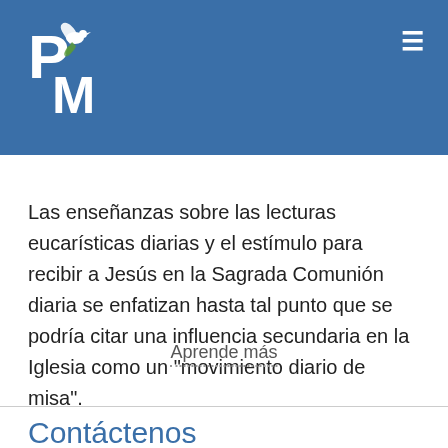[Figure (logo): PM logo with dove and leaf on blue background]
Las enseñanzas sobre las lecturas eucarísticas diarias y el estímulo para recibir a Jesús en la Sagrada Comunión diaria se enfatizan hasta tal punto que se podría citar una influencia secundaria en la Iglesia como un "movimiento diario de misa".
Aprende más
Contáctenos